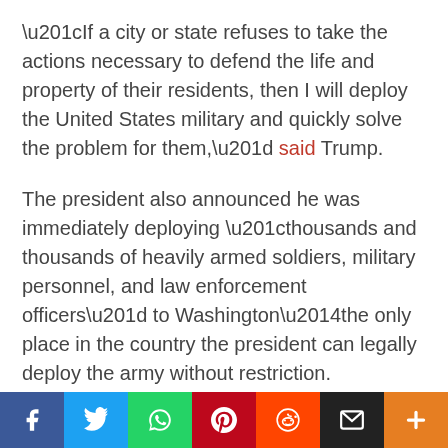“If a city or state refuses to take the actions necessary to defend the life and property of their residents, then I will deploy the United States military and quickly solve the problem for them,” said Trump.
The president also announced he was immediately deploying “thousands and thousands of heavily armed soldiers, military personnel, and law enforcement officers” to Washington—the only place in the country the president can legally deploy the army without restriction.
As NBC News reported:
[Figure (infographic): Social media share bar with buttons for Facebook, Twitter, WhatsApp, Pinterest, Reddit, Email, and a plus/more button]